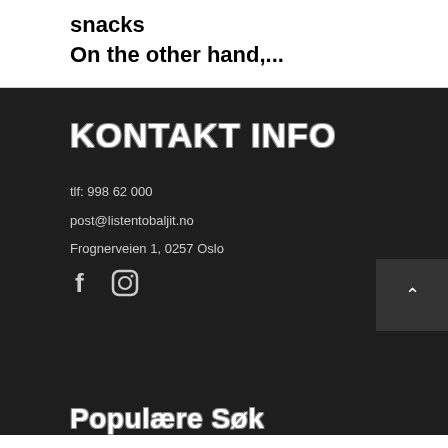snacks
On the other hand,...
KONTAKT INFO
tlf: 998 62 000
post@listentobaljit.no
Frognerveien 1, 0257 Oslo
[Figure (illustration): Social media icons: Facebook (f) and Instagram (camera)]
[Figure (illustration): Scroll to top button with upward caret arrow]
Populære søk